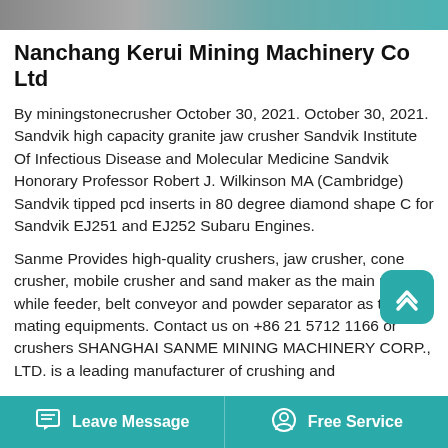[Figure (photo): Image strip at top of page showing machinery/mining equipment]
Nanchang Kerui Mining Machinery Co Ltd
By miningstonecrusher October 30, 2021. October 30, 2021. Sandvik high capacity granite jaw crusher Sandvik Institute Of Infectious Disease and Molecular Medicine Sandvik Honorary Professor Robert J. Wilkinson MA (Cambridge) Sandvik tipped pcd inserts in 80 degree diamond shape C for Sandvik EJ251 and EJ252 Subaru Engines.
Sanme Provides high-quality crushers, jaw crusher, cone crusher, mobile crusher and sand maker as the main product while feeder, belt conveyor and powder separator as the mating equipments. Contact us on +86 21 5712 1166 or crushers SHANGHAI SANME MINING MACHINERY CORP., LTD. is a leading manufacturer of crushing and
Leave Message    Free Service